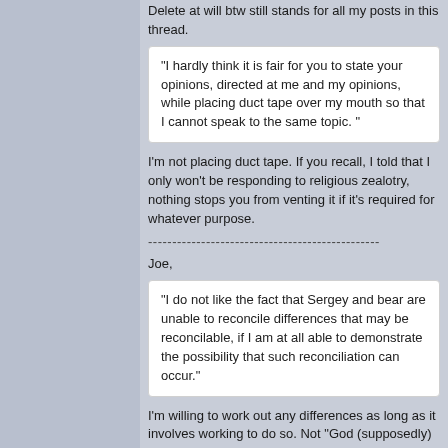Delete at will btw still stands for all my posts in this thread.
"I hardly think it is fair for you to state your opinions, directed at me and my opinions, while placing duct tape over my mouth so that I cannot speak to the same topic. "
I'm not placing duct tape. If you recall, I told that I only won't be responding to religious zealotry, nothing stops you from venting it if it's required for whatever purpose.
------------------------------------------------
Joe,
"I do not like the fact that Sergey and bear are unable to reconcile differences that may be reconcilable, if I am at all able to demonstrate the possibility that such reconciliation can occur."
I'm willing to work out any differences as long as it involves working to do so. Not "God (supposedly) said this and that and therefore - this and that", but as per usual:
- What (Who)?
- How ?
- Why ?
I'd be the first to admit plausibility if there were at